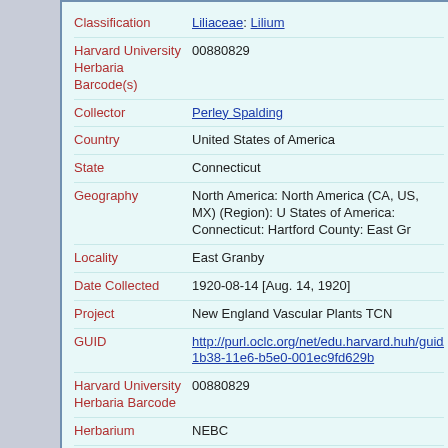| Field | Value |
| --- | --- |
| Classification | Liliaceae: Lilium |
| Harvard University Herbaria Barcode(s) | 00880829 |
| Collector | Perley Spalding |
| Country | United States of America |
| State | Connecticut |
| Geography | North America: North America (CA, US, MX) (Region): United States of America: Connecticut: Hartford County: East Granby |
| Locality | East Granby |
| Date Collected | 1920-08-14 [Aug. 14, 1920] |
| Project | New England Vascular Plants TCN |
| GUID | http://purl.oclc.org/net/edu.harvard.huh/guid/uuid/b6c...1b38-11e6-b5e0-001ec9fd629b |
| Harvard University Herbaria Barcode | 00880829 |
| Herbarium | NEBC |
| Family | Liliaceae |